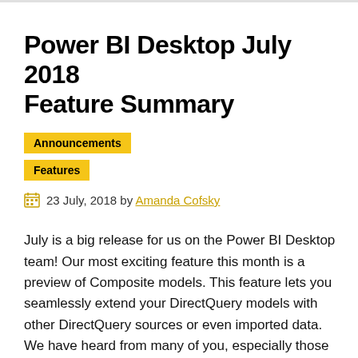Power BI Desktop July 2018 Feature Summary
Announcements
Features
23 July, 2018 by Amanda Cofsky
July is a big release for us on the Power BI Desktop team! Our most exciting feature this month is a preview of Composite models. This feature lets you seamlessly extend your DirectQuery models with other DirectQuery sources or even imported data. We have heard from many of you, especially those in larger enterprises, that this is an essential feature and are glad to share it with all of you. We also have many reporting features this month, including an update to